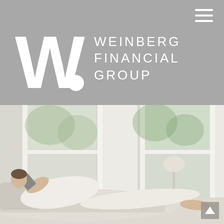[Figure (logo): Weinberg Financial Group logo: large white 'W.' with dot, followed by company name in white uppercase letters on grey background]
[Figure (photo): Person relaxing on a sofa near large white-framed windows, wearing white clothes, reading a tablet or book, barefoot, with greenery visible outside the windows]